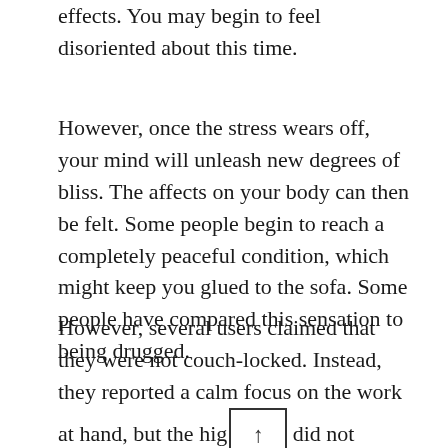effects. You may begin to feel disoriented about this time.
However, once the stress wears off, your mind will unleash new degrees of bliss. The affects on your body can then be felt. Some people begin to reach a completely peaceful condition, which might keep you glued to the sofa. Some people have compared this sensation to being drugged.
However, several users claimed that they were not couch-locked. Instead, they reported a calm focus on the work at hand, but the high did not motivate them.